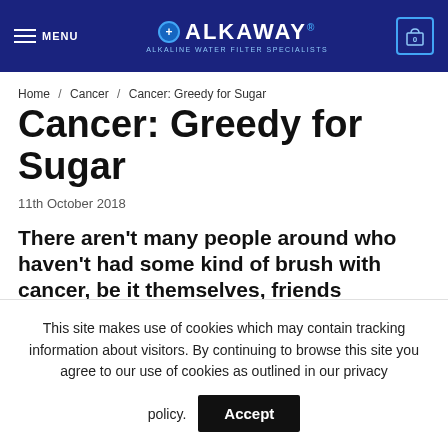MENU | ALKAWAY® ALKALINE WATER FILTER SPECIALISTS | 0
Home / Cancer / Cancer: Greedy for Sugar
Cancer: Greedy for Sugar
11th October 2018
There aren't many people around who haven't had some kind of brush with cancer, be it themselves, friends
This site makes use of cookies which may contain tracking information about visitors. By continuing to browse this site you agree to our use of cookies as outlined in our privacy policy. Accept